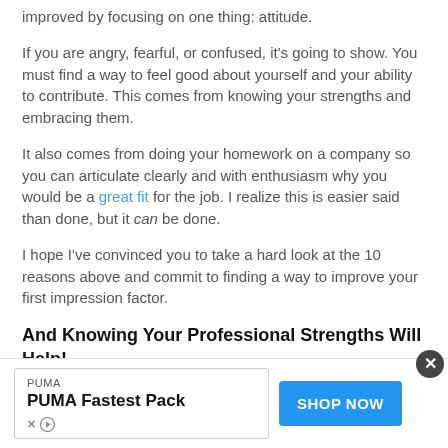…can tell you that many of the negatives above can be improved by focusing on one thing: attitude.
If you are angry, fearful, or confused, it's going to show. You must find a way to feel good about yourself and your ability to contribute. This comes from knowing your strengths and embracing them.
It also comes from doing your homework on a company so you can articulate clearly and with enthusiasm why you would be a great fit for the job. I realize this is easier said than done, but it can be done.
I hope I've convinced you to take a hard look at the 10 reasons above and commit to finding a way to improve your first impression factor.
And Knowing Your Professional Strengths Will Help!
[Figure (other): Advertisement banner for PUMA Fastest Pack with SHOP NOW button and close (X) button]